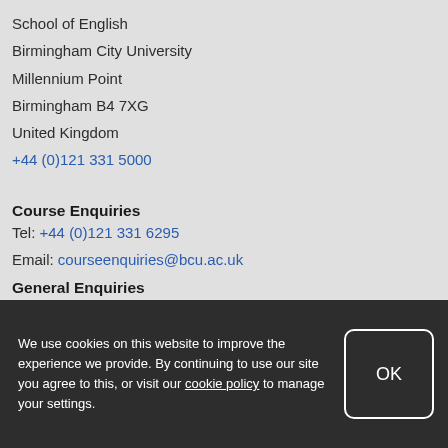School of English
Birmingham City University
Millennium Point
Birmingham B4 7XG
United Kingdom
+44 (0)121 331 5000
Course Enquiries
Tel: +44 (0)121 331 6295
Email: courseenquiries@bcu.ac.uk
General Enquiries
Tel: +44 (0)121 331 5675
We use cookies on this website to improve the experience we provide. By continuing to use our site you agree to this, or visit our cookie policy to manage your settings.